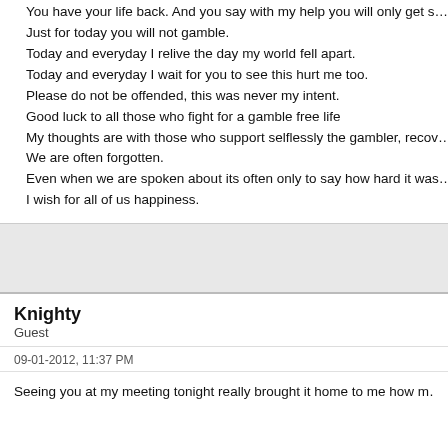You have your life back. And you say with my help you will only get s...
Just for today you will not gamble.
Today and everyday I relive the day my world fell apart.
Today and everyday I wait for you to see this hurt me too.
Please do not be offended, this was never my intent.
Good luck to all those who fight for a gamble free life
My thoughts are with those who support selflessly the gambler, recov...
We are often forgotten.
Even when we are spoken about its often only to say how hard it was...
I wish for all of us happiness.
Knighty
Guest
09-01-2012, 11:37 PM
Seeing you at my meeting tonight really brought it home to me how m...

I thank you so much for talking in front of our group so openly and su...
and in this post.
we as compulsive gamblers have been the most selfish people ever...